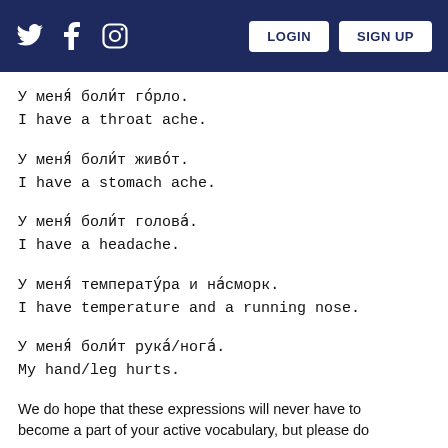Twitter  Facebook  Instagram  LOGIN  SIGN UP
У меня́ боли́т го́рло.
I have a throat ache.
У меня́ боли́т живо́т.
I have a stomach ache.
У меня́ боли́т голова́.
I have a headache.
У меня́ температу́ра и на́сморк.
I have temperature and a running nose.
У меня́ боли́т рука́/нога́.
My hand/leg hurts.
We do hope that these expressions will never have to become a part of your active vocabulary, but please do